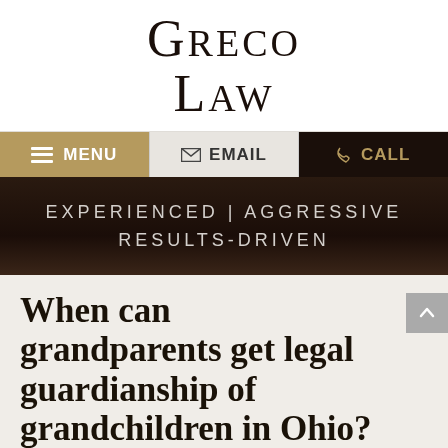[Figure (logo): Greco Law firm logo with stylized serif text]
MENU | EMAIL | CALL navigation bar
EXPERIENCED | AGGRESSIVE RESULTS-DRIVEN
When can grandparents get legal guardianship of grandchildren in Ohio?